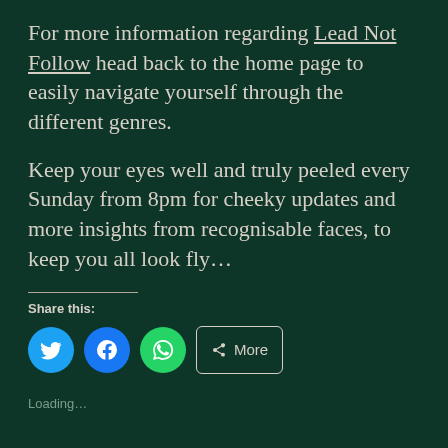For more information regarding Lead Not Follow head back to the home page to easily navigate yourself through the different genres.
Keep your eyes well and truly peeled every Sunday from 8pm for cheeky updates and more insights from recognisable faces, to keep you all look fly...
Share this:
[Figure (infographic): Social share buttons: Twitter (blue circle), Facebook (blue circle), WhatsApp (green circle), and a More button with share icon]
Loading...